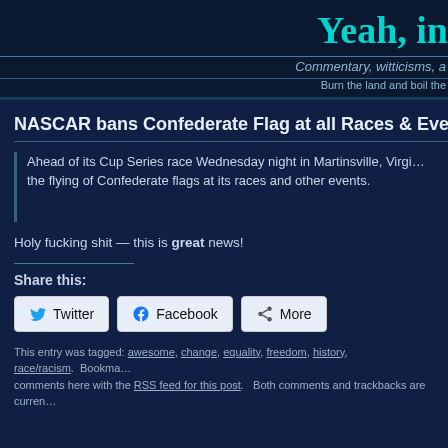Yeah, in
Commentary, witticisms, a
Burn the land and boil the
NASCAR bans Confederate Flag at all Races & Events
Ahead of its Cup Series race Wednesday night in Martinsville, Virginia, NASCAR banned the flying of Confederate flags at its races and other events.
Holy fucking shit — this is great news!
Share this:
Twitter  Facebook  More
This entry was tagged: awesome, change, equality, freedom, history, race/racism.  Bookma… comments here with the RSS feed for this post.   Both comments and trackbacks are curren…